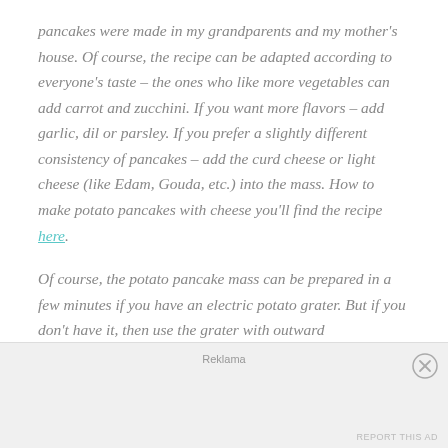pancakes were made in my grandparents and my mother's house. Of course, the recipe can be adapted according to everyone's taste – the ones who like more vegetables can add carrot and zucchini. If you want more flavors – add garlic, dil or parsley. If you prefer a slightly different consistency of pancakes – add the curd cheese or light cheese (like Edam, Gouda, etc.) into the mass. How to make potato pancakes with cheese you'll find the recipe here.
Of course, the potato pancake mass can be prepared in a few minutes if you have an electric potato grater. But if you don't have it, then use the grater with outward
Reklama